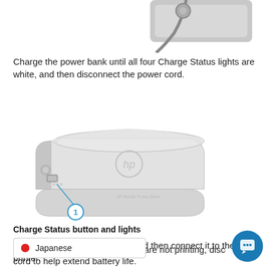[Figure (illustration): Top portion of a power adapter with cord visible against white background]
Charge the power bank until all four Charge Status lights are white, and then disconnect the power cord.
[Figure (illustration): HP power bank device shown in 3/4 perspective view with label 1 pointing to Charge Status button and lights on the left side]
Charge Status button and lights
Unwrap the power bank cord, and then connect it to the printer.
Japanese
are not printing, disconnect the po...
cord to help extend battery life.